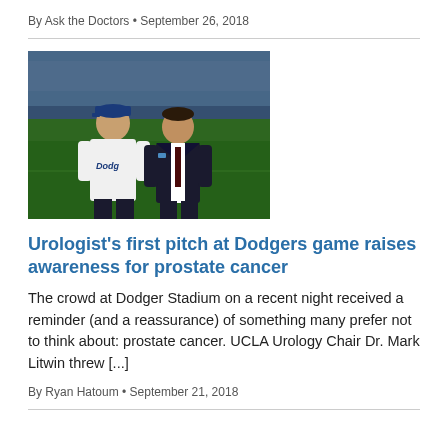By Ask the Doctors • September 26, 2018
[Figure (photo): Two men posing together at Dodger Stadium. The man on the left wears a Dodgers jersey and cap, the man on the right is in a dark suit. Stadium field and crowd visible in background.]
Urologist's first pitch at Dodgers game raises awareness for prostate cancer
The crowd at Dodger Stadium on a recent night received a reminder (and a reassurance) of something many prefer not to think about: prostate cancer. UCLA Urology Chair Dr. Mark Litwin threw [...]
By Ryan Hatoum • September 21, 2018